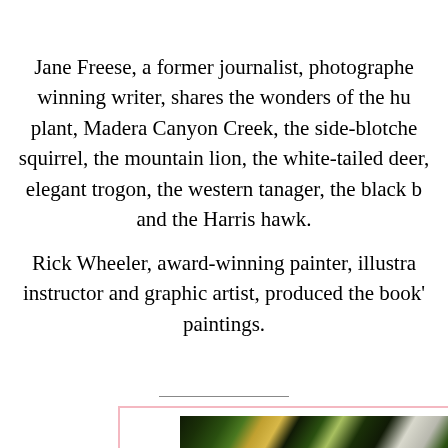Jane Freese, a former journalist, photographer, and award-winning writer, shares the wonders of the hummingbird plant, Madera Canyon Creek, the side-blotched lizard, the rock squirrel, the mountain lion, the white-tailed deer, the copper-tailed elegant trogon, the western tanager, the black bear, the coatimundi, and the Harris hawk.
Rick Wheeler, award-winning painter, illustrator, art instructor and graphic artist, produced the book's paintings.
[Figure (illustration): Partial view of a colorful painting showing dense foliage or feathers in dark green, gold, and white tones, partially cropped at the bottom of the page within a pink-bordered frame.]